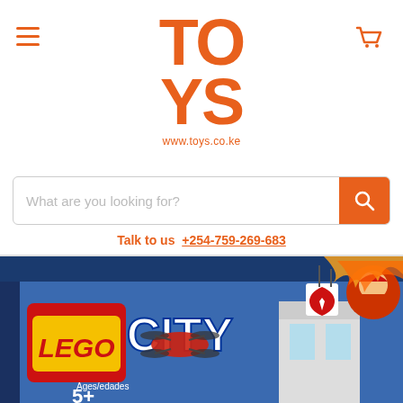TOYS www.toys.co.ke
What are you looking for?
Talk to us  +254-759-269-683
[Figure (photo): LEGO City Fire Station 60215 product box, ages 5+, 509 pieces, showing a fire station tower and a drone/quadcopter, with a firefighter minifigure on the box art]